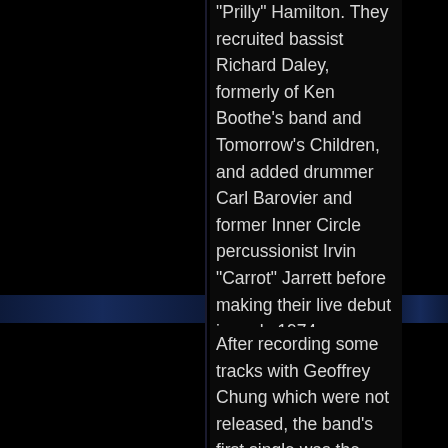“Prilly” Hamilton. They recruited bassist Richard Daley, formerly of Ken Boothe’s band and Tomorrow’s Children, and added drummer Carl Barovier and former Inner Circle percussionist Irvin “Carrot” Jarrett before making their live debut in early 1974.
After recording some tracks with Geoffrey Chung which were not released, the band’s first single was the self-produced “Railroad